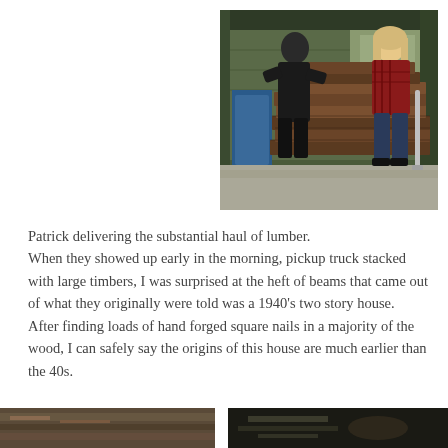[Figure (photo): Two people standing in a barn or garage with a large stack of old lumber/timber planks. A man in dark clothing on the left and a woman in a red plaid shirt on the right.]
Patrick delivering the substantial haul of lumber. When they showed up early in the morning, pickup truck stacked with large timbers, I was surprised at the heft of beams that came out of what they originally were told was a 1940's two story house. After finding loads of hand forged square nails in a majority of the wood, I can safely say the origins of this house are much earlier than the 40s.
[Figure (photo): Partial photo at bottom left, appears to show close-up of lumber or wood detail.]
[Figure (photo): Partial photo at bottom right, appears to show lumber or wood in dark setting.]